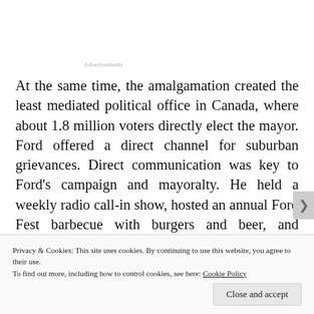Advertisements
At the same time, the amalgamation created the least mediated political office in Canada, where about 1.8 million voters directly elect the mayor. Ford offered a direct channel for suburban grievances. Direct communication was key to Ford’s campaign and mayoralty. He held a weekly radio call-in show, hosted an annual Ford Fest barbecue with burgers and beer, and claimed to return every telephone call to his office
Privacy & Cookies: This site uses cookies. By continuing to use this website, you agree to their use.
To find out more, including how to control cookies, see here: Cookie Policy
Close and accept